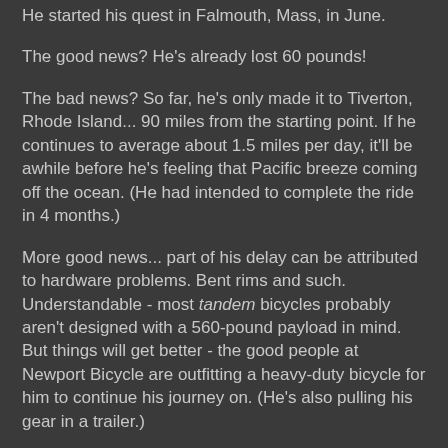He started his quest in Falmouth, Mass, in June.
The good news?  He's already lost 60 pounds!
The bad news?  So far, he's only made it to Tiverton, Rhode Island... 90 miles from the starting point.  If he continues to average about 1.5 miles per day, it'll be awhile before he's feeling that Pacific breeze coming off the ocean.  (He had intended to complete the ride in 4 months.)
More good news... part of his delay can be attributed to hardware problems.  Bent rims and such.  Understandable - most tandem bicycles probably aren't designed with a 560-pound payload in mind.  But things will get better - the good people at Newport Bicycle are outfitting a heavy-duty bicycle for him to continue his journey on.  (He's also pulling his gear in a trailer.)
Inspirational story!  I sure hope he's able to stay safe... he didn't get to 560 pounds while becoming an experienced on-road bicycle rider!